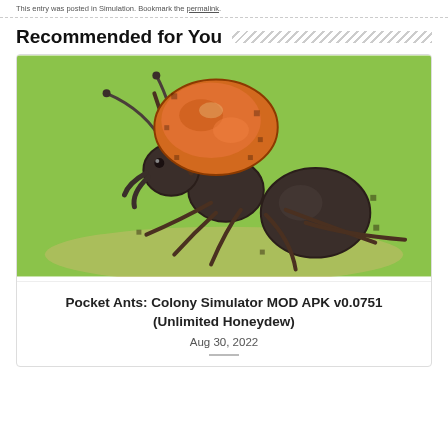This entry was posted in Simulation. Bookmark the permalink.
Recommended for You
[Figure (illustration): Pixel-art style illustration of a dark ant carrying a large orange/brown food item on a light green background with sand-colored ground area]
Pocket Ants: Colony Simulator MOD APK v0.0751 (Unlimited Honeydew)
Aug 30, 2022